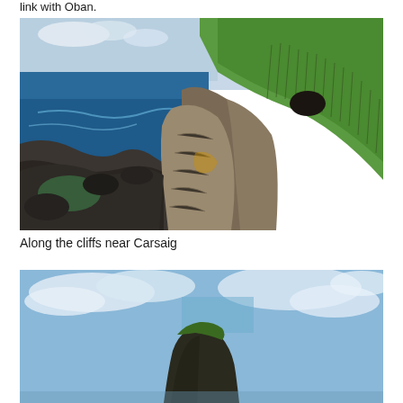link with Oban.
[Figure (photo): Coastal cliff landscape near Carsaig, Isle of Mull. Rocky basalt columns and cliffs in the foreground, deep blue sea on the left, green grassy hillside with columnar basalt formations rising on the upper right. Dramatic coastal scenery.]
Along the cliffs near Carsaig
[Figure (photo): Partial view of a rocky sea stack or coastal rock formation with green moss/lichen on top, set against a blue sky with clouds. Only the upper portion of the image is visible.]